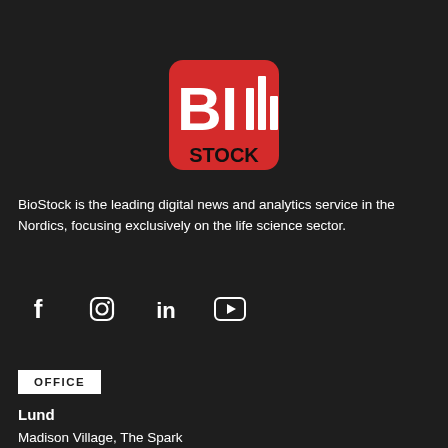[Figure (logo): BioStock logo — red rounded square with white BIO text and bar chart icon, black STOCK text below]
BioStock is the leading digital news and analytics service in the Nordics, focusing exclusively on the life science sector.
[Figure (infographic): Social media icons row: Facebook, Instagram, LinkedIn, YouTube]
OFFICE
Lund
Madison Village, The Spark